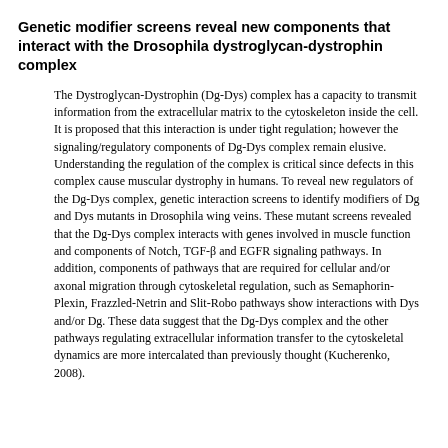Genetic modifier screens reveal new components that interact with the Drosophila dystroglycan-dystrophin complex
The Dystroglycan-Dystrophin (Dg-Dys) complex has a capacity to transmit information from the extracellular matrix to the cytoskeleton inside the cell. It is proposed that this interaction is under tight regulation; however the signaling/regulatory components of Dg-Dys complex remain elusive. Understanding the regulation of the complex is critical since defects in this complex cause muscular dystrophy in humans. To reveal new regulators of the Dg-Dys complex, genetic interaction screens to identify modifiers of Dg and Dys mutants in Drosophila wing veins. These mutant screens revealed that the Dg-Dys complex interacts with genes involved in muscle function and components of Notch, TGF-β and EGFR signaling pathways. In addition, components of pathways that are required for cellular and/or axonal migration through cytoskeletal regulation, such as Semaphorin-Plexin, Frazzled-Netrin and Slit-Robo pathways show interactions with Dys and/or Dg. These data suggest that the Dg-Dys complex and the other pathways regulating extracellular information transfer to the cytoskeletal dynamics are more intercalated than previously thought (Kucherenko, 2008).